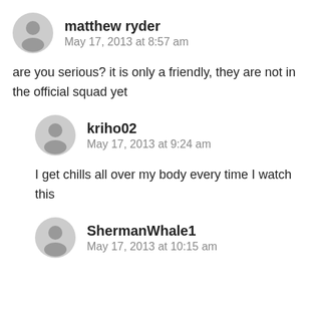matthew ryder
May 17, 2013 at 8:57 am
are you serious? it is only a friendly, they are not in the official squad yet
kriho02
May 17, 2013 at 9:24 am
I get chills all over my body every time I watch this
ShermanWhale1
May 17, 2013 at 10:15 am